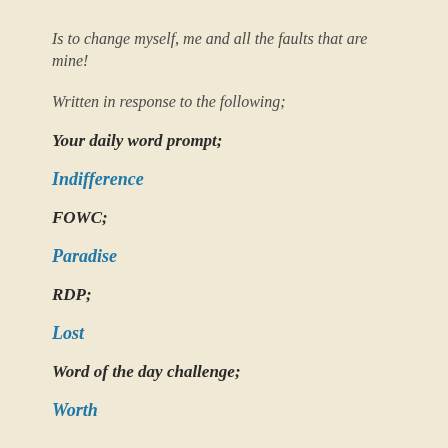Is to change myself, me and all the faults that are mine!
Written in response to the following;
Your daily word prompt;
Indifference
FOWC;
Paradise
RDP;
Lost
Word of the day challenge;
Worth